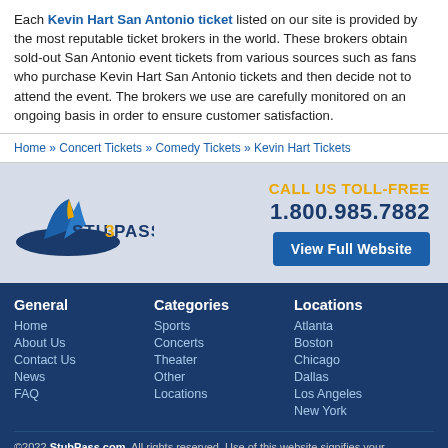Each Kevin Hart San Antonio ticket listed on our site is provided by the most reputable ticket brokers in the world. These brokers obtain sold-out San Antonio event tickets from various sources such as fans who purchase Kevin Hart San Antonio tickets and then decide not to attend the event. The brokers we use are carefully monitored on an ongoing basis in order to ensure customer satisfaction.
Home » Concert Tickets » Comedy Tickets » Kevin Hart Tickets
[Figure (logo): StubPass logo with shark fin and STUBPASS text in blue and yellow/gold]
CALL US TOLL-FREE 1.800.985.7882
View Full Website
General
Home
About Us
Contact Us
News
FAQ
Categories
Sports
Concerts
Theater
Other
Locations
Locations
Atlanta
Boston
Chicago
Dallas
Los Angeles
New York
©2022 StubPass.com. All rights reserved. Use of this website signifies your agreement to the StubPass.com User Agreement and Privacy Policy.